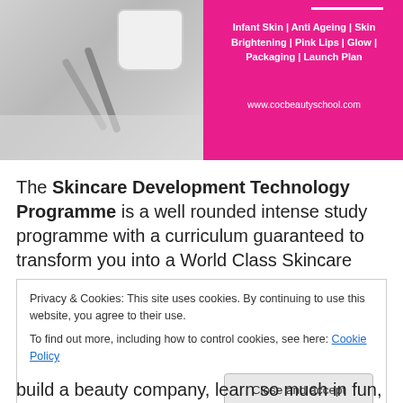[Figure (photo): Top banner image showing black and white photo of skincare tools and a white mug on the left, and a bright pink/magenta panel on the right with white text listing: Infant Skin | Anti Ageing | Skin Brightening | Pink Lips | Glow | Packaging | Launch Plan, and website www.cocbeautyschool.com]
The Skincare Development Technology Programme is a well rounded intense study programme with a curriculum guaranteed to transform you into a World Class Skincare
Privacy & Cookies: This site uses cookies. By continuing to use this website, you agree to their use.
To find out more, including how to control cookies, see here: Cookie Policy
build a beauty company, learn so much in fun, easy to